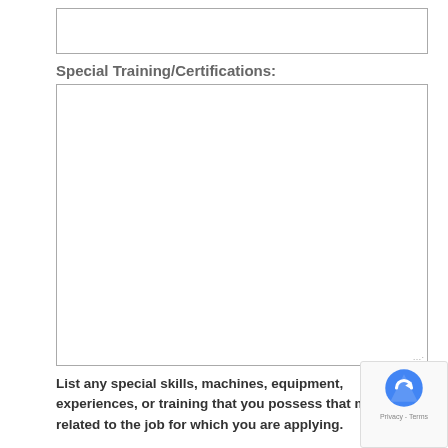[Figure (other): Empty text input box (form field) at top of page]
Special Training/Certifications:
[Figure (other): Large empty textarea (form field) for Special Training/Certifications]
List any special skills, machines, equipment, experiences, or training that you possess that may be related to the job for which you are applying.